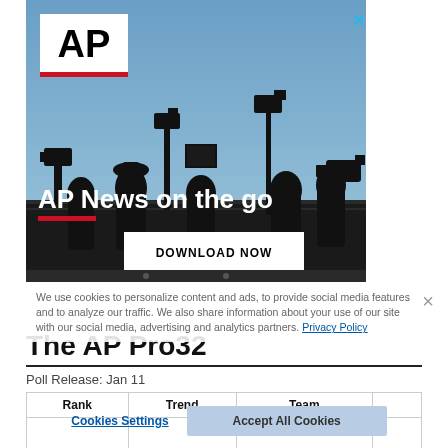[Figure (photo): AP News advertisement banner showing silhouettes of camera operators and journalists against a blue sky, with AP logo in top-left, headline 'AP News on the go', red underline, and 'DOWNLOAD NOW' button]
We use cookies to personalize content and ads, to provide social media features and to analyze our traffic. We also share information about your use of our site with our social media, advertising and analytics partners. Privacy Policy
The AP Pro32
Poll Release: Jan 11
| Rank | Trend | Team |
| --- | --- | --- |
|  |  |  |